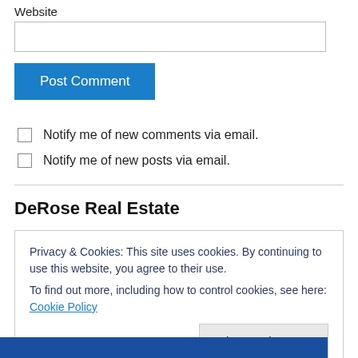Website
[input field]
Post Comment
Notify me of new comments via email.
Notify me of new posts via email.
DeRose Real Estate
Privacy & Cookies: This site uses cookies. By continuing to use this website, you agree to their use.
To find out more, including how to control cookies, see here: Cookie Policy
Close and accept